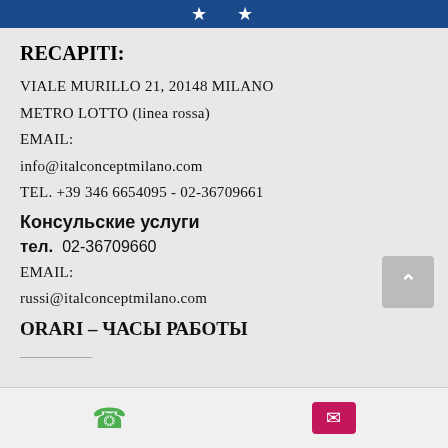★ ★
RECAPITI:
VIALE MURILLO 21, 20148 MILANO
METRO LOTTO (linea rossa)
EMAIL:
info@italconceptmilano.com
TEL. +39 346 6654095 - 02-36709661
Консульские услуги
тел.  02-36709660
EMAIL:
russi@italconceptmilano.com
ORARI – ЧАСЫ РАБОТЫ
📞   ✉